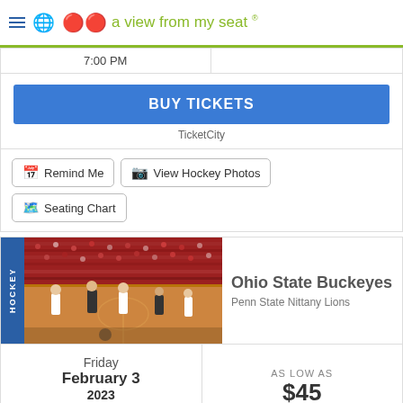a view from my seat ®
7:00 PM
BUY TICKETS
TicketCity
Remind Me
View Hockey Photos
Seating Chart
[Figure (photo): Hockey arena photo showing players on ice with crowd in background]
Ohio State Buckeyes
Penn State Nittany Lions
Friday
February 3
2023
TBD
AS LOW AS
$45